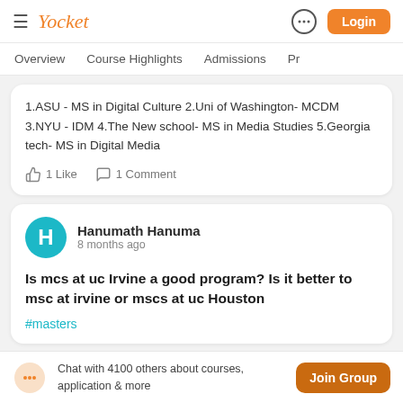Yocket | Login
Overview | Course Highlights | Admissions | Pr
1.ASU - MS in Digital Culture 2.Uni of Washington- MCDM 3.NYU - IDM 4.The New school- MS in Media Studies 5.Georgia tech- MS in Digital Media
1 Like   1 Comment
Hanumath Hanuma
8 months ago
Is mcs at uc Irvine a good program? Is it better to msc at irvine or mscs at uc Houston
#masters
Chat with 4100 others about courses, application & more